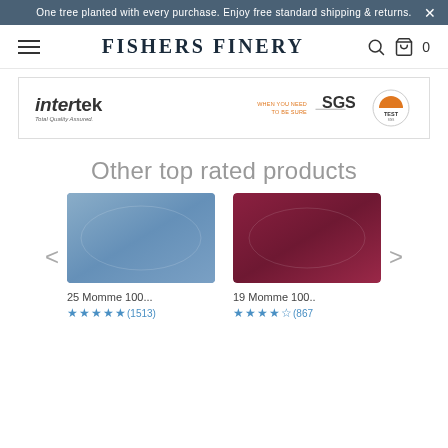One tree planted with every purchase. Enjoy free standard shipping & returns.
FISHERS FINERY
[Figure (logo): Intertek Total Quality Assured logo and SGS TEST certification badge]
Other top rated products
[Figure (photo): Blue satin silk pillowcase product photo]
[Figure (photo): Dark red/burgundy satin silk pillowcase product photo]
25 Momme 100...
19 Momme 100..
★★★★★(1513)
★★★★★(867)